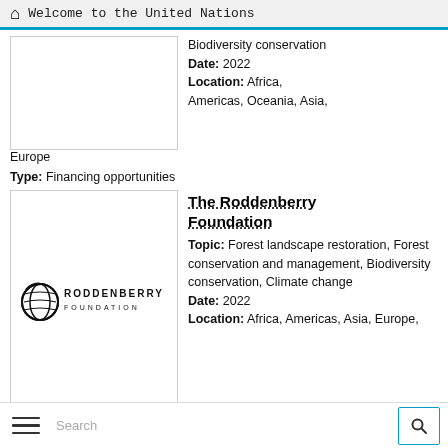Welcome to the United Nations
Biodiversity conservation
Date: 2022
Location: Africa, Americas, Oceania, Asia,
Europe
Type: Financing opportunities
[Figure (logo): Roddenberry Foundation logo]
The Roddenberry Foundation
Topic: Forest landscape restoration, Forest conservation and management, Biodiversity conservation, Climate change
Date: 2022
Location: Africa, Americas, Asia, Europe,